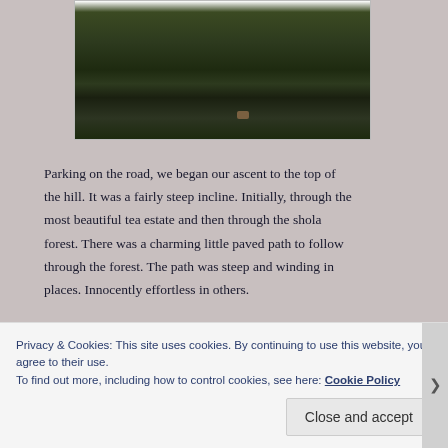[Figure (photo): Photograph of a grassy hillside with dark green vegetation, taken outdoors.]
Parking on the road, we began our ascent to the top of the hill. It was a fairly steep incline. Initially, through the most beautiful tea estate and then through the shola forest. There was a charming little paved path to follow through the forest. The path was steep and winding in places. Innocently effortless in others.
[Figure (photo): Photograph of forest canopy with green trees visible from below.]
Privacy & Cookies: This site uses cookies. By continuing to use this website, you agree to their use.
To find out more, including how to control cookies, see here: Cookie Policy